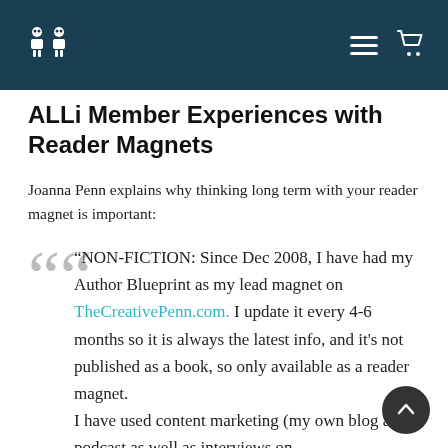ALLi logo and navigation header
ALLi Member Experiences with Reader Magnets
Joanna Penn explains why thinking long term with your reader magnet is important:
“NON-FICTION: Since Dec 2008, I have had my Author Blueprint as my lead magnet on TheCreativePenn.com. I update it every 4-6 months so it is always the latest info, and it's not published as a book, so only available as a reader magnet.
I have used content marketing (my own blog and podcast as well as interviews on